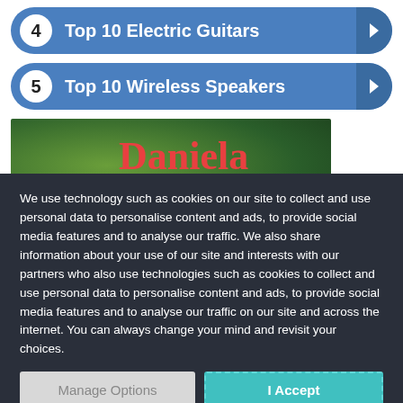4  Top 10 Electric Guitars
5  Top 10 Wireless Speakers
[Figure (photo): Image with green foliage background and red text reading 'Daniela Soladada']
We use technology such as cookies on our site to collect and use personal data to personalise content and ads, to provide social media features and to analyse our traffic. We also share information about your use of our site and interests with our partners who also use technologies such as cookies to collect and use personal data to personalise content and ads, to provide social media features and to analyse our traffic on our site and across the internet. You can always change your mind and revisit your choices.
Manage Options
I Accept